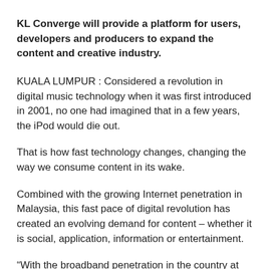KL Converge will provide a platform for users, developers and producers to expand the content and creative industry.
KUALA LUMPUR : Considered a revolution in digital music technology when it was first introduced in 2001, no one had imagined that in a few years, the iPod would die out.
That is how fast technology changes, changing the way we consume content in its wake.
Combined with the growing Internet penetration in Malaysia, this fast pace of digital revolution has created an evolving demand for content – whether it is social, application, information or entertainment.
“With the broadband penetration in the country at over